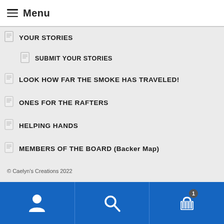Menu
YOUR STORIES
SUBMIT YOUR STORIES
LOOK HOW FAR THE SMOKE HAS TRAVELED!
ONES FOR THE RAFTERS
HELPING HANDS
MEMBERS OF THE BOARD (Backer Map)
© Caelyn's Creations 2022